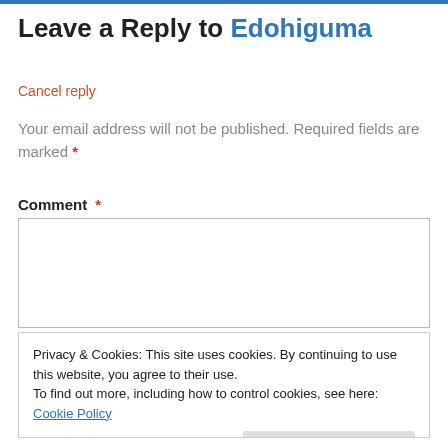Leave a Reply to Edohiguma
Cancel reply
Your email address will not be published. Required fields are marked *
Comment *
[Figure (other): Empty comment text area input box]
Privacy & Cookies: This site uses cookies. By continuing to use this website, you agree to their use.
To find out more, including how to control cookies, see here: Cookie Policy
Close and accept